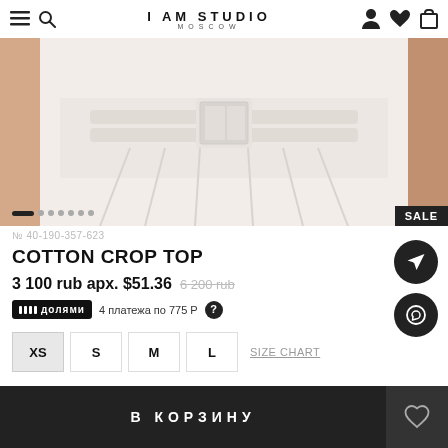I AM STUDIO MOSCOW
[Figure (photo): Close-up photo of a white cotton crop top with belt detail worn by a model. SALE badge in bottom right corner. Image carousel dots at bottom left.]
№ 40-190-357-623
COTTON CROP TOP
3 100 rub арх. $51.36  6 200 rub
IIII долями  4 платежа по 775 Р  ?
XS  S  M  L  SIZE CHART
Other colors:
В КОРЗИНУ